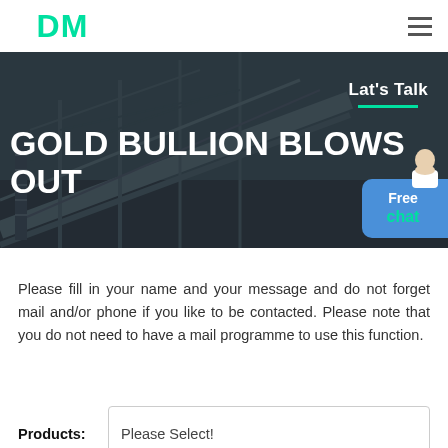LDM
[Figure (photo): Industrial mining conveyor belt and scaffolding structure, dark overlay background with 'GOLD BULLION BLOWS OUT' title text and 'Lat's Talk' label. A free chat badge with avatar is visible on the right.]
Please fill in your name and your message and do not forget mail and/or phone if you like to be contacted. Please note that you do not need to have a mail programme to use this function.
| Products: | Please Select! |
| --- | --- |